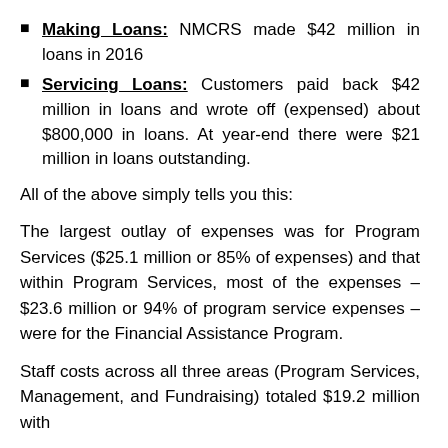Making Loans: NMCRS made $42 million in loans in 2016
Servicing Loans: Customers paid back $42 million in loans and wrote off (expensed) about $800,000 in loans. At year-end there were $21 million in loans outstanding.
All of the above simply tells you this:
The largest outlay of expenses was for Program Services ($25.1 million or 85% of expenses) and that within Program Services, most of the expenses – $23.6 million or 94% of program service expenses – were for the Financial Assistance Program.
Staff costs across all three areas (Program Services, Management, and Fundraising) totaled $19.2 million with